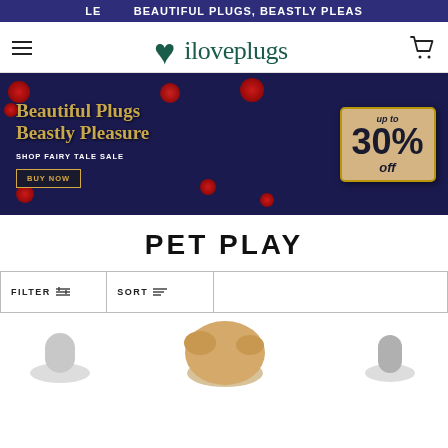LE   BEAUTIFUL PLUGS, BEASTLY PLEAS
[Figure (logo): iloveplugs logo with teal cursive text]
[Figure (infographic): Promotional banner: Beautiful Plugs Beastly Pleasure, Shop Fairy Tale Sale | Buy Now, up to 30% off]
PET PLAY
FILTER   SORT
[Figure (photo): Product images partially visible at bottom of page]